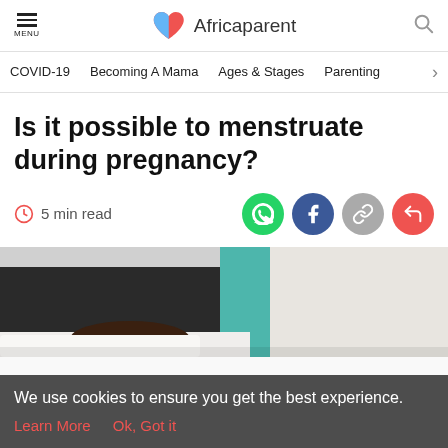MENU | Africaparent
COVID-19 | Becoming A Mama | Ages & Stages | Parenting >
Is it possible to menstruate during pregnancy?
5 min read
[Figure (photo): Photograph of a bedroom scene, partially visible, cropped at the top portion.]
We use cookies to ensure you get the best experience.
Learn More    Ok, Got it